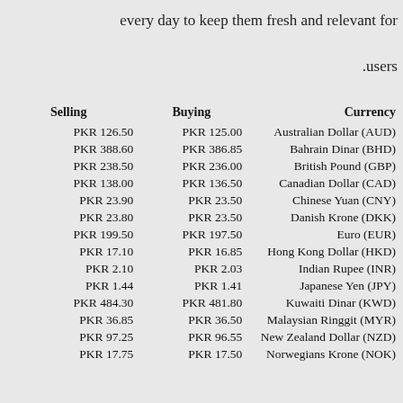every day to keep them fresh and relevant for .users
| Selling | Buying | Currency |
| --- | --- | --- |
| PKR 126.50 | PKR 125.00 | Australian Dollar (AUD) |
| PKR 388.60 | PKR 386.85 | Bahrain Dinar (BHD) |
| PKR 238.50 | PKR 236.00 | British Pound (GBP) |
| PKR 138.00 | PKR 136.50 | Canadian Dollar (CAD) |
| PKR 23.90 | PKR 23.50 | Chinese Yuan (CNY) |
| PKR 23.80 | PKR 23.50 | Danish Krone (DKK) |
| PKR 199.50 | PKR 197.50 | Euro (EUR) |
| PKR 17.10 | PKR 16.85 | Hong Kong Dollar (HKD) |
| PKR 2.10 | PKR 2.03 | Indian Rupee (INR) |
| PKR 1.44 | PKR 1.41 | Japanese Yen (JPY) |
| PKR 484.30 | PKR 481.80 | Kuwaiti Dinar (KWD) |
| PKR 36.85 | PKR 36.50 | Malaysian Ringgit (MYR) |
| PKR 97.25 | PKR 96.55 | New Zealand Dollar (NZD) |
| PKR 17.75 | PKR 17.50 | Norwegians Krone (NOK) |